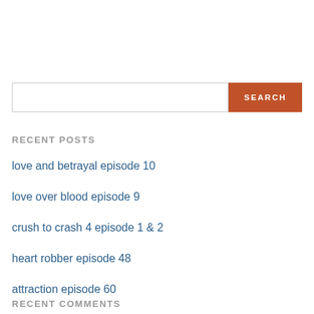RECENT POSTS
love and betrayal episode 10
love over blood episode 9
crush to crash 4 episode 1 & 2
heart robber episode 48
attraction episode 60
RECENT COMMENTS